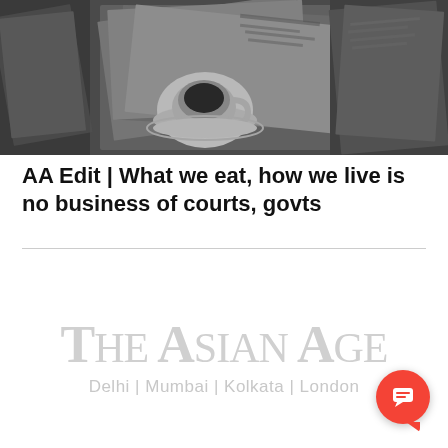[Figure (photo): Black and white photo of newspapers spread on a wooden table with a white coffee cup and saucer. The Asian Age logo appears in the bottom right of the image with text 'Delhi | Mumbai | Kolkata | London'.]
AA Edit | What we eat, how we live is no business of courts, govts
[Figure (logo): The Asian Age watermark logo in light gray with subtitle 'Delhi | Mumbai | Kolkata | London']